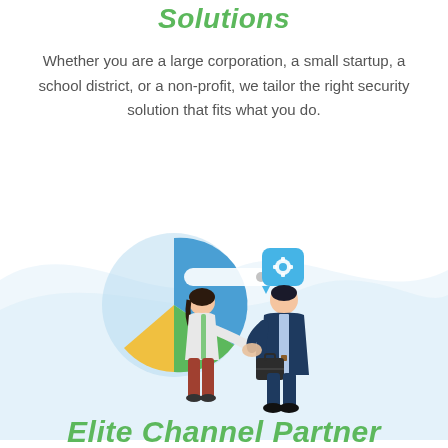Solutions
Whether you are a large corporation, a small startup, a school district, or a non-profit, we tailor the right security solution that fits what you do.
[Figure (illustration): Illustration of two people shaking hands in a business context, with a pie chart and a gear/settings icon in the background, on a light blue wave background.]
Elite Channel Partner